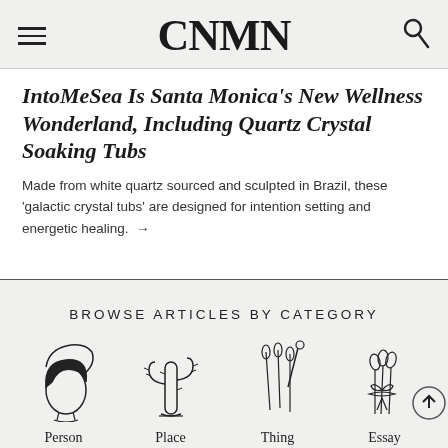CNMN
IntoMeSea Is Santa Monica's New Wellness Wonderland, Including Quartz Crystal Soaking Tubs
Made from white quartz sourced and sculpted in Brazil, these 'galactic crystal tubs' are designed for intention setting and energetic healing. →
BROWSE ARTICLES BY CATEGORY
[Figure (illustration): Line drawing illustration of a person's face and hair silhouette]
Person
[Figure (illustration): Line drawing illustration of a cactus]
Place
[Figure (illustration): Line drawing illustration of acupuncture needles]
Thing
[Figure (illustration): Line drawing illustration of a bundle of herbs or sage tied with ribbon]
Essay